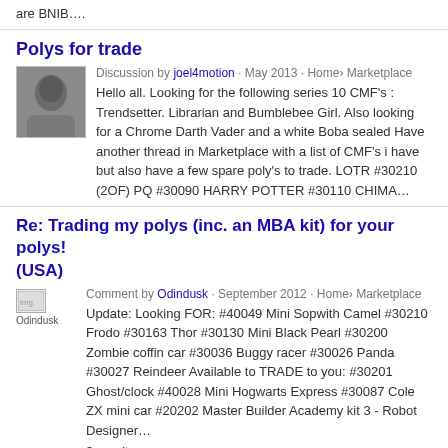are BNIB….
Polys for trade
Discussion by joel4motion · May 2013 · Home› Marketplace
Hello all. Looking for the following series 10 CMF's : Trendsetter. Librarian and Bumblebee Girl. Also looking for a Chrome Darth Vader and a white Boba sealed Have another thread in Marketplace with a list of CMF's i have but also have a few spare poly's to trade. LOTR #30210 (2OF) PQ #30090 HARRY POTTER #30110 CHIMA…
Re: Trading my polys (inc. an MBA kit) for your polys! (USA)
Comment by Odindusk · September 2012 · Home› Marketplace
Update: Looking FOR: #40049 Mini Sopwith Camel #30210 Frodo #30163 Thor #30130 Mini Black Pearl #30200 Zombie coffin car #30036 Buggy racer #30026 Panda #30027 Reindeer Available to TRADE to you: #30201 Ghost/clock #40028 Mini Hogwarts Express #30087 Cole ZX mini car #20202 Master Builder Academy kit 3 - Robot Designer…
3 results